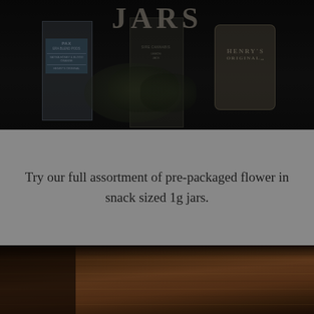[Figure (photo): Dark overhead photo of pre-packaged cannabis flower jars and bottles on a dark background. A blue-labeled package on the left, a center bottle, and a HENRY'S ORIGINAL branded jar on the right, with cannabis flower buds in the foreground. Large 'JARS' text overlaid at the top.]
Try our full assortment of pre-packaged flower in snack sized 1g jars.
[Figure (photo): Dark photo of a wooden surface/table with wood grain texture visible. A dark panel on the left and dark objects/books visible on the right side.]